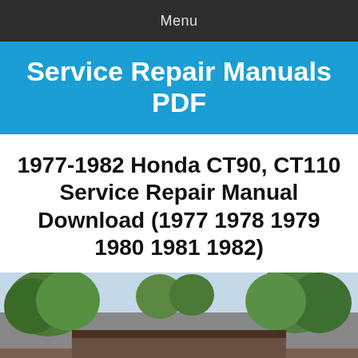Menu
Service Repair Manuals PDF
1977-1982 Honda CT90, CT110 Service Repair Manual Download (1977 1978 1979 1980 1981 1982)
[Figure (photo): Outdoor photograph showing trees and a building, likely a Honda dealership or repair shop exterior]